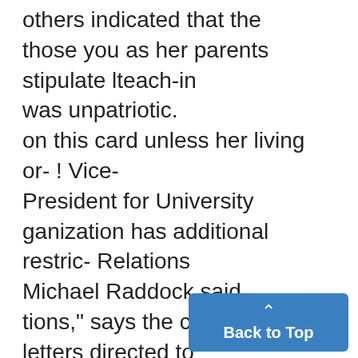others indicated that the those you as her parents stipulate lteach-in was unpatriotic. on this card unless her living or- ! Vice-President for University ganization has additional restric- Relations Michael Raddock said tions," says the card. that letters directed to his office' The questionnaire has been were virtually all negative and withdrawn and will be replaced represented perhaps the largest ex- by another, not bearing the qu
[Figure (other): Blue 'Back to Top' button with upward arrow chevron]